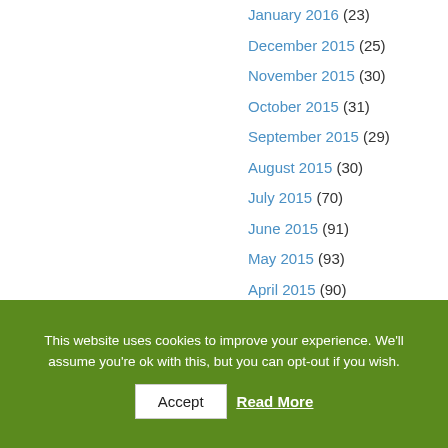January 2016 (23)
December 2015 (25)
November 2015 (30)
October 2015 (31)
September 2015 (29)
August 2015 (30)
July 2015 (70)
June 2015 (91)
May 2015 (93)
April 2015 (90)
March 2015 (93)
February 2015 (84)
This website uses cookies to improve your experience. We'll assume you're ok with this, but you can opt-out if you wish.
Accept
Read More